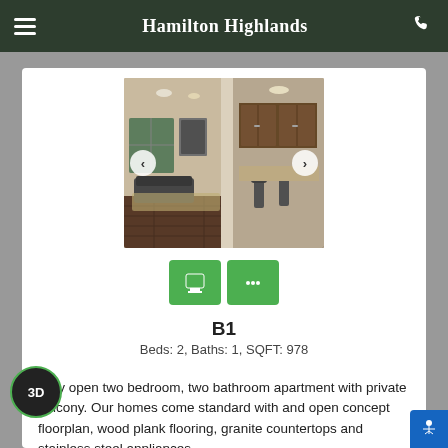Hamilton Highlands
[Figure (photo): Interior apartment photo showing open living room with dark wood floors, dark furniture, and a view into kitchen with dark wood cabinets]
B1
Beds: 2, Baths: 1, SQFT: 978
Very open two bedroom, two bathroom apartment with private balcony. Our homes come standard with and open concept floorplan, wood plank flooring, granite countertops and stainless steel appliances.